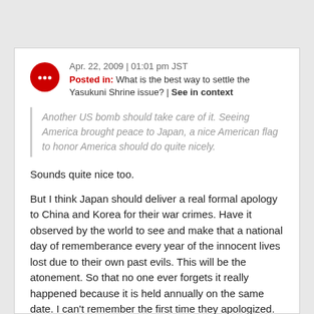Apr. 22, 2009 | 01:01 pm JST
Posted in: What is the best way to settle the Yasukuni Shrine issue? | See in context
Another US bomb should take care of it. Seeing America brought peace to Japan, a nice American flag to honor America should do quite nicely.
Sounds quite nice too.
But I think Japan should deliver a real formal apology to China and Korea for their war crimes. Have it observed by the world to see and make that a national day of rememberance every year of the innocent lives lost due to their own past evils. This will be the atonement. So that no one ever forgets it really happened because it is held annually on the same date. I can't remember the first time they apologized.
As for the shrine, dig up the war criminals and throw those SOB's in the mouth of the volcano, and stop visiting the shrine to pray for them.